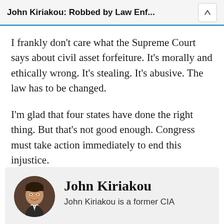John Kiriakou: Robbed by Law Enf...
I frankly don’t care what the Supreme Court says about civil asset forfeiture.  It’s morally and ethically wrong.  It’s stealing.  It’s abusive.  The law has to be changed.
I’m glad that four states have done the right thing.  But that’s not good enough.  Congress must take action immediately to end this injustice.
[Figure (photo): Circular portrait photo of John Kiriakou, a man in a suit smiling]
John Kiriakou
John Kiriakou is a former CIA